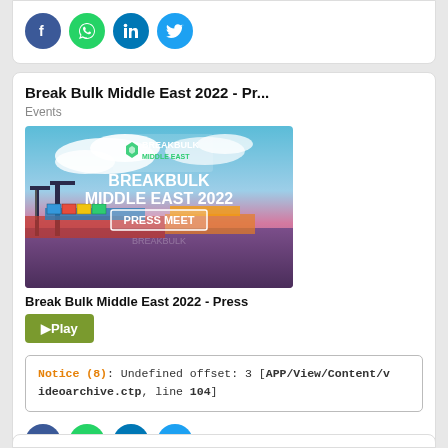[Figure (other): Social media share icons: Facebook (blue), WhatsApp (green), LinkedIn (blue), Twitter (light blue) in circular buttons]
Break Bulk Middle East 2022 - Pr...
Events
[Figure (photo): Breakbulk Middle East 2022 Press Meet promotional image showing a port with cranes and container ships at dusk/twilight, with the text BREAKBULK MIDDLE EAST 2022 PRESS MEET overlaid]
Break Bulk Middle East 2022 - Press
▶Play
Notice (8): Undefined offset: 3 [APP/View/Content/videoarchive.ctp, line 104]
[Figure (other): Social media share icons: Facebook (blue), WhatsApp (green), LinkedIn (blue), Twitter (light blue) in circular buttons]